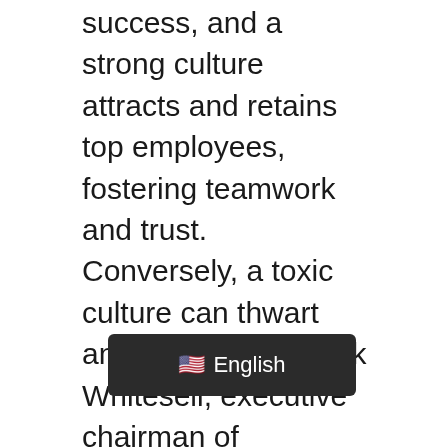success, and a strong culture attracts and retains top employees, fostering teamwork and trust. Conversely, a toxic culture can thwart any company. Patrick Whitesell, executive chairman of Endeavor, an entertainment and media agency, stated, “You can have all the right strategies in the world; if you don’t have the right culture, you’re dead.”
Social media has evolved rapidly over the last 10 years and has become a fundamental way that people engage with one another. Posts and their underlying meaning—including both what is intended and how it can be perceived—ca[overlay]werful statement for all the world to[overlay] said on social media does not